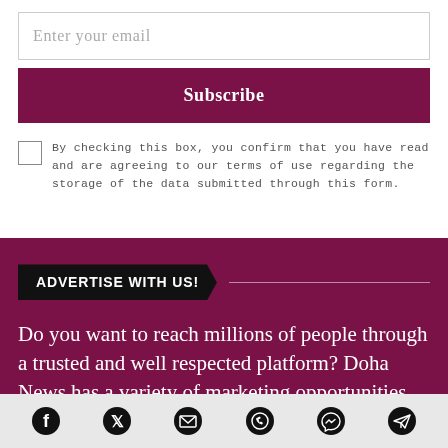Enter your email
Subscribe
By checking this box, you confirm that you have read and are agreeing to our terms of use regarding the storage of the data submitted through this form.
ADVERTISE WITH US!
Do you want to reach millions of people through a trusted and well respected platform? Doha News has a variety of marketing opportunities for
Social icons: Facebook, Twitter, Email, WhatsApp, Messenger, Telegram